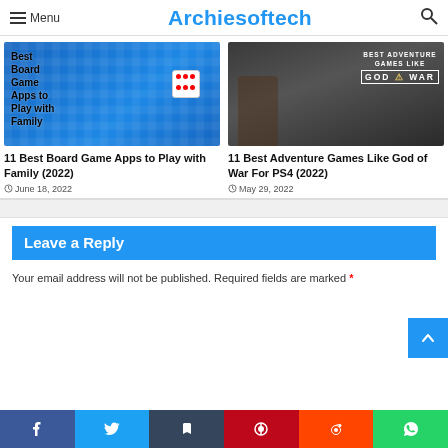Menu | Archiesoftech | [search]
[Figure (photo): Board game pieces including colorful pawns and a white die with red dots on a blue board game surface, with text overlay 'Best Board Game Apps to Play with Family']
11 Best Board Game Apps to Play with Family (2022)
June 18, 2022
[Figure (photo): Character from God of War video game — bearded warrior with face paint, with text overlay 'BEST ADVENTURE GAMES LIKE GOD OF WAR']
11 Best Adventure Games Like God of War For PS4 (2022)
May 29, 2022
Leave a Reply
Your email address will not be published. Required fields are marked *